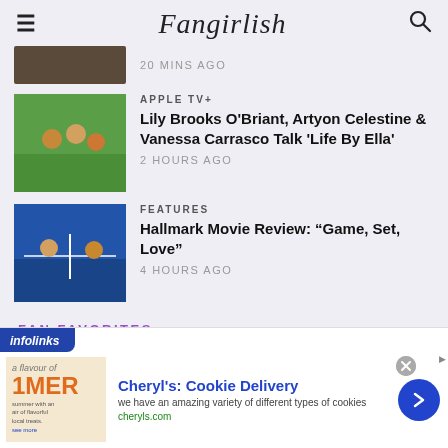Fangirlish
20 MINS AGO
APPLE TV+
Lily Brooks O'Briant, Artyon Celestine & Vanessa Carrasco Talk 'Life By Ella'
2 HOURS AGO
FEATURES
Hallmark Movie Review: “Game, Set, Love”
4 HOURS AGO
FAN FAVORITES
[Figure (screenshot): Infolinks advertisement bar for Cheryl's Cookie Delivery]